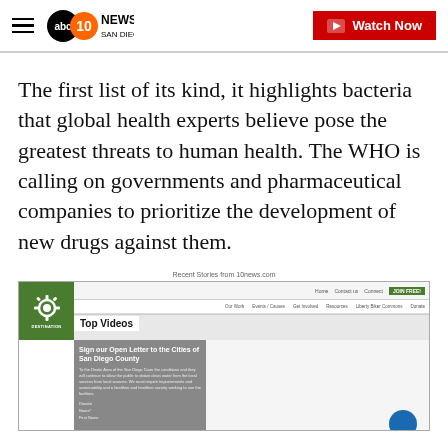10News ABC San Diego — Watch Now
The first list of its kind, it highlights bacteria that global health experts believe pose the greatest threats to human health. The WHO is calling on governments and pharmaceutical companies to prioritize the development of new drugs against them.
Recent Stories from 10news.com
[Figure (screenshot): Screenshot of a website showing 'Sign our Open Letter to the Cities of San Diego County' with a Top Videos badge overlay and green logo in the upper left.]